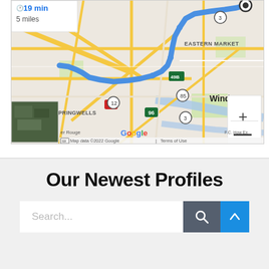[Figure (map): Google Maps screenshot showing a route (blue line) through Detroit area including Eastern Market, Springwells, highways I-75, I-96, route 85, 49B, 12, 3. Route info shows 19 min and 5 miles. Map data ©2022 Google. Zoom +/- controls visible. Satellite thumbnail in bottom-left corner.]
Our Newest Profiles
Search...